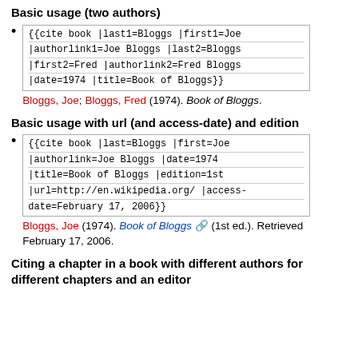Basic usage (two authors)
{{cite book |last1=Bloggs |first1=Joe |authorlink1=Joe Bloggs |last2=Bloggs |first2=Fred |authorlink2=Fred Bloggs |date=1974 |title=Book of Bloggs}}
Bloggs, Joe; Bloggs, Fred (1974). Book of Bloggs.
Basic usage with url (and access-date) and edition
{{cite book |last=Bloggs |first=Joe |authorlink=Joe Bloggs |date=1974 |title=Book of Bloggs |edition=1st |url=http://en.wikipedia.org/ |access-date=February 17, 2006}}
Bloggs, Joe (1974). Book of Bloggs (1st ed.). Retrieved February 17, 2006.
Citing a chapter in a book with different authors for different chapters and an editor